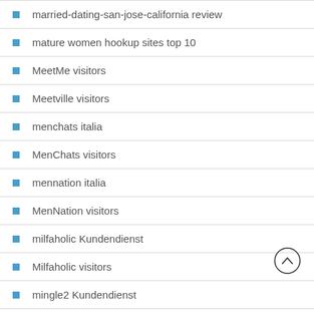married-dating-san-jose-california review
mature women hookup sites top 10
MeetMe visitors
Meetville visitors
menchats italia
MenChats visitors
mennation italia
MenNation visitors
milfaholic Kundendienst
Milfaholic visitors
mingle2 Kundendienst